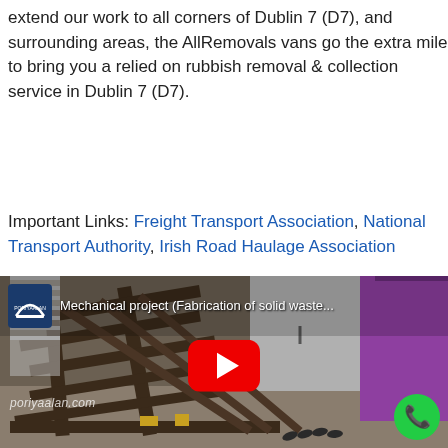extend our work to all corners of Dublin 7 (D7), and surrounding areas, the AllRemovals vans go the extra mile to bring you a relied on rubbish removal & collection service in Dublin 7 (D7).
Important Links: Freight Transport Association, National Transport Authority, Irish Road Haulage Association
[Figure (screenshot): Embedded YouTube video thumbnail showing a metal fabrication frame/structure in a workshop. A person in a purple shirt is visible. Video title: 'Mechanical project (Fabrication of solid waste...' with a channel logo (Poriyaalan) top-left, a red YouTube play button in the center, watermark 'poriyaalan.com' bottom-left, and a green phone button bottom-right.]